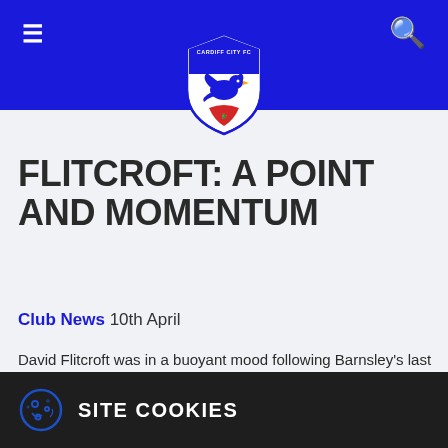Cardiff City FC navigation header with hamburger menu and search icon
[Figure (logo): Cardiff City FC shield crest logo with bluebird]
FLITCROFT: A POINT AND MOMENTUM
Club News 10th April
David Flitcroft was in a buoyant mood following Barnsley's last gasp equaliser at Cardiff City Stadium. With the busy schedule at the end of the season Flitcroft was certainly complimentary about his team's efforts against what he believes will be the league Champions.
SITE COOKIES